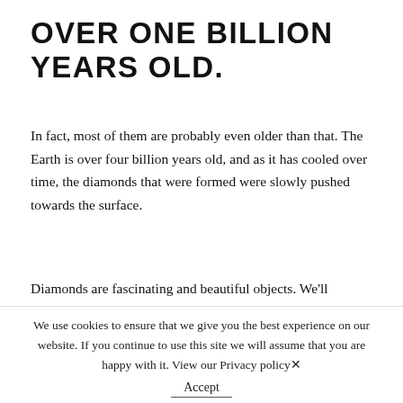OVER ONE BILLION YEARS OLD.
In fact, most of them are probably even older than that. The Earth is over four billion years old, and as it has cooled over time, the diamonds that were formed were slowly pushed towards the surface.
Diamonds are fascinating and beautiful objects. We'll always hold them very close to our hearts and we hope you do too,
We use cookies to ensure that we give you the best experience on our website. If you continue to use this site we will assume that you are happy with it. View our Privacy policy
Accept